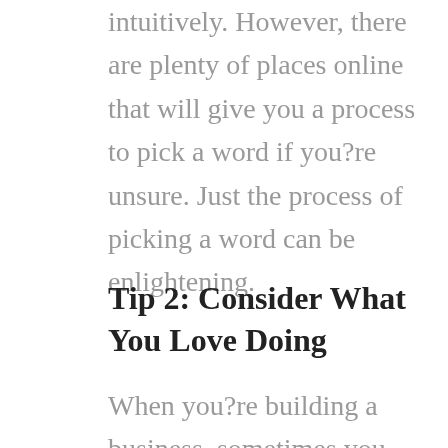intuitively. However, there are plenty of places online that will give you a process to pick a word if you?re unsure. Just the process of picking a word can be enlightening.
Tip 2: Consider What You Love Doing
When you?re building a business, sometimes you start going down a